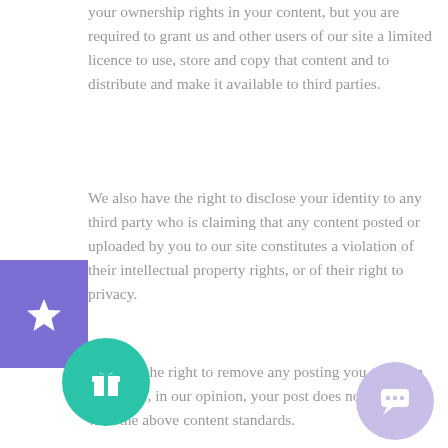your ownership rights in your content, but you are required to grant us and other users of our site a limited licence to use, store and copy that content and to distribute and make it available to third parties.
We also have the right to disclose your identity to any third party who is claiming that any content posted or uploaded by you to our site constitutes a violation of their intellectual property rights, or of their right to privacy.
We have the right to remove any posting you make on our site if, in our opinion, your post does not comply with the above content standards.